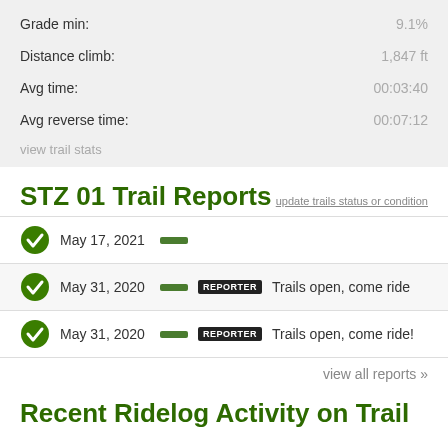|  |  |
| --- | --- |
| Grade min: | 9.1% |
| Distance climb: | 1,847 ft |
| Avg time: | 00:03:40 |
| Avg reverse time: | 00:07:12 |
view trail stats
STZ 01 Trail Reports
update trails status or condition
May 17, 2021
May 31, 2020 — REPORTER Trails open, come ride
May 31, 2020 — REPORTER Trails open, come ride!
view all reports »
Recent Ridelog Activity on Trail